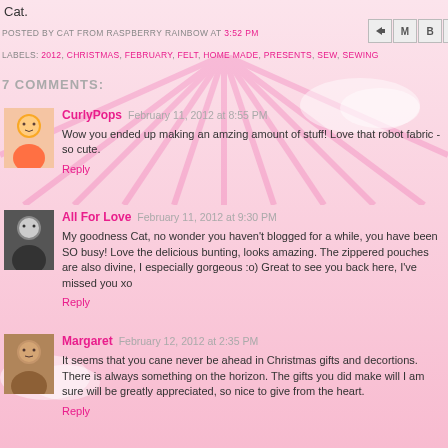Cat.
POSTED BY CAT FROM RASPBERRY RAINBOW AT 3:52 PM
LABELS: 2012, CHRISTMAS, FEBRUARY, FELT, HOME MADE, PRESENTS, SEW, SEWING
7 COMMENTS:
CurlyPops  February 11, 2012 at 8:55 PM
Wow you ended up making an amzing amount of stuff! Love that robot fabric - so cute.
Reply
All For Love  February 11, 2012 at 9:30 PM
My goodness Cat, no wonder you haven't blogged for a while, you have been SO busy! Love the delicious bunting, looks amazing. The zippered pouches are also divine, I especially gorgeous :o) Great to see you back here, I've missed you xo
Reply
Margaret  February 12, 2012 at 2:35 PM
It seems that you cane never be ahead in Christmas gifts and decortions. There is always something on the horizon. The gifts you did make will I am sure will be greatly appreciated, so nice to give from the heart.
Reply